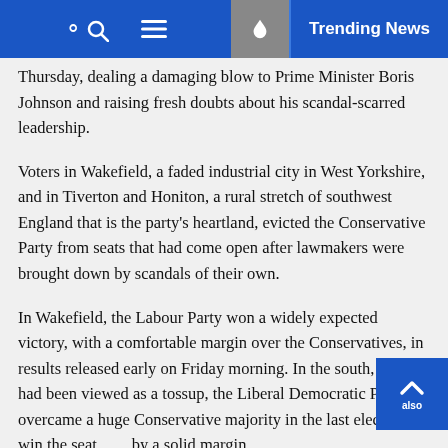Trending News
Thursday, dealing a damaging blow to Prime Minister Boris Johnson and raising fresh doubts about his scandal-scarred leadership.
Voters in Wakefield, a faded industrial city in West Yorkshire, and in Tiverton and Honiton, a rural stretch of southwest England that is the party's heartland, evicted the Conservative Party from seats that had come open after lawmakers were brought down by scandals of their own.
In Wakefield, the Labour Party won a widely expected victory, with a comfortable margin over the Conservatives, in results released early on Friday morning. In the south, which had been viewed as a tossup, the Liberal Democratic Party overcame a huge Conservative majority in the last election to win the seat also by a solid margin.
The double defeat is a stinging rebuke of Mr. Johnson, who survived a no-confidence vote in his party earlier this month,